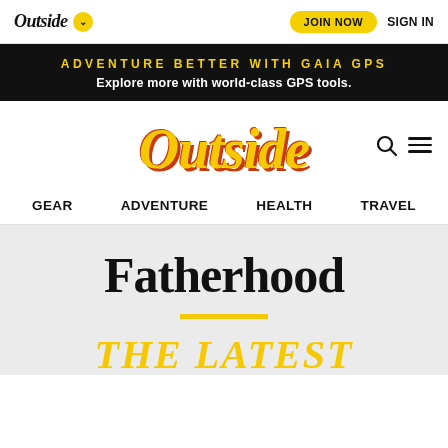Outside  JOIN NOW  SIGN IN
ADVENTURE BETTER WITH GAIA GPS
Explore more with world-class GPS tools.
[Figure (logo): Outside magazine large yellow italic serif logo with orange shadow, flanked by search and menu icons]
GEAR  ADVENTURE  HEALTH  TRAVEL
Fatherhood
THE LATEST